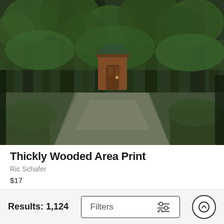[Figure (photo): Forest path with a wooden outhouse/shed structure in the middle, surrounded by tall coniferous trees, with a gravel road leading through the forest]
Thickly Wooded Area Print
Ric Schafer
$17
[Figure (photo): Dense forest scene with tall trees and a yellow cabin/house partially visible among the trees]
Results: 1,124
Filters